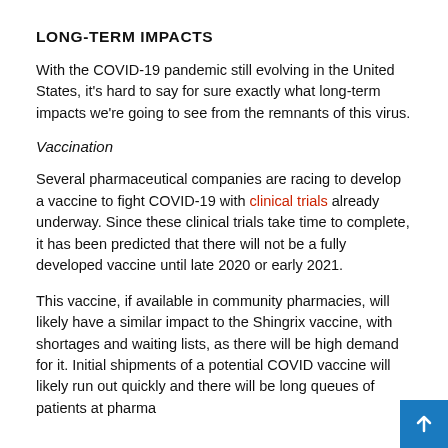LONG-TERM IMPACTS
With the COVID-19 pandemic still evolving in the United States, it's hard to say for sure exactly what long-term impacts we're going to see from the remnants of this virus.
Vaccination
Several pharmaceutical companies are racing to develop a vaccine to fight COVID-19 with clinical trials already underway. Since these clinical trials take time to complete, it has been predicted that there will not be a fully developed vaccine until late 2020 or early 2021.
This vaccine, if available in community pharmacies, will likely have a similar impact to the Shingrix vaccine, with shortages and waiting lists, as there will be high demand for it. Initial shipments of a potential COVID vaccine will likely run out quickly and there will be long queues of patients at pharma